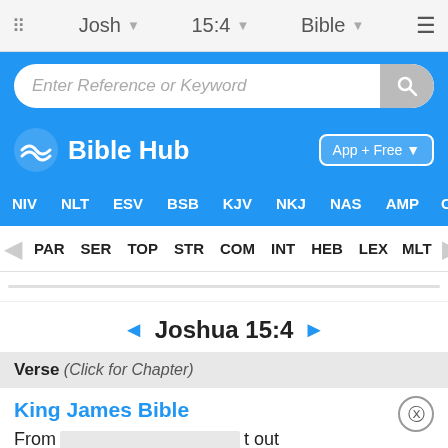Josh | 15:4 | Bible
[Figure (screenshot): Search bar with placeholder text 'Enter Reference or Keyword' and search icon button]
[Figure (logo): Bible Hub logo with wave icon and 'App + Free' download button]
NIV  NLT  ESV  BSB  KJV  NKJ  NAS  AMP  CS
PAR  SER  TOP  STR  COM  INT  HEB  LEX  MLT
◄ Joshua 15:4 ►
Verse  (Click for Chapter)
King James Bible
From             t out unto t          at coast